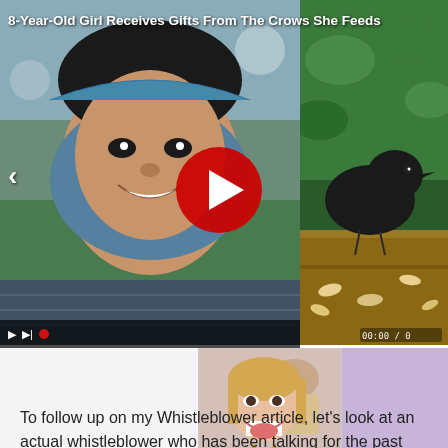[Figure (screenshot): Video thumbnail split screen: left shows an 8-year-old Asian girl smiling, right shows a black crow in a wooden planter box. A red play button circle is centered over the split. Title overlay reads '8-Year-Old Girl Receives Gifts From The Crows She Feeds'. Video controls visible at bottom left. Timestamp '00:00 / 0' visible at bottom right.]
[Figure (screenshot): Small Instagram-style image showing a young woman with mouth open smiling, 'Send message' bar visible at the bottom.]
To follow up on my Whistleblower article, let's look at an actual whistleblower who has been talking for the past few